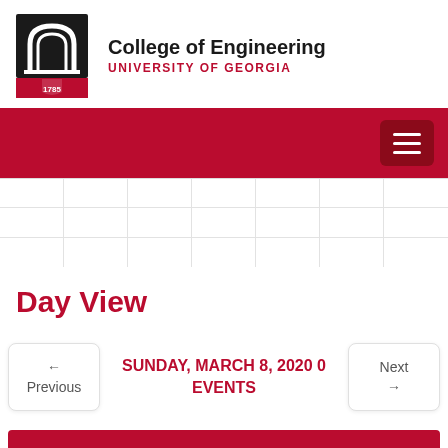[Figure (logo): University of Georgia College of Engineering logo with arch and shield]
College of Engineering
UNIVERSITY OF GEORGIA
[Figure (screenshot): Red navigation bar with hamburger menu button]
[Figure (screenshot): Calendar grid placeholder with gray cells]
Day View
← Previous   SUNDAY, MARCH 8, 2020 0 EVENTS   Next →